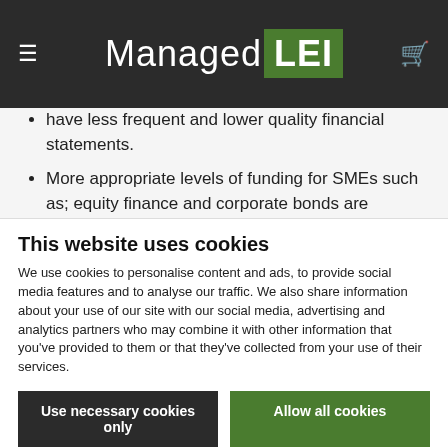ManagedLEI
have less frequent and lower quality financial statements.
More appropriate levels of funding for SMEs such as; equity finance and corporate bonds are underutilised by SMEs. Perhaps because there is a lack of awareness about these options.
The assets that SMEs are seeking to borrow against are increasingly intangible such as the value of a brand or user base – rather than physical
This website uses cookies
We use cookies to personalise content and ads, to provide social media features and to analyse our traffic. We also share information about your use of our site with our social media, advertising and analytics partners who may combine it with other information that you've provided to them or that they've collected from your use of their services.
Use necessary cookies only
Allow all cookies
Show details